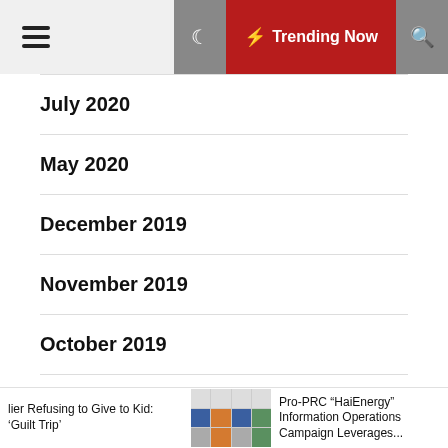Trending Now
July 2020
May 2020
December 2019
November 2019
October 2019
September 2019
August 2019
lier Refusing to Give to Kid: ‘Guilt Trip’  |  Pro-PRC “HaiEnergy” Information Operations Campaign Leverages...